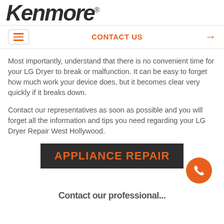Kenmore®
CONTACT US →
Most importantly, understand that there is no convenient time for your LG Dryer to break or malfunction. It can be easy to forget how much work your device does, but it becomes clear very quickly if it breaks down.
Contact our representatives as soon as possible and you will forget all the information and tips you need regarding your LG Dryer Repair West Hollywood.
[Figure (logo): Dark banner with orange bold text reading APPLIANCE REPAIR]
Contact our professional...